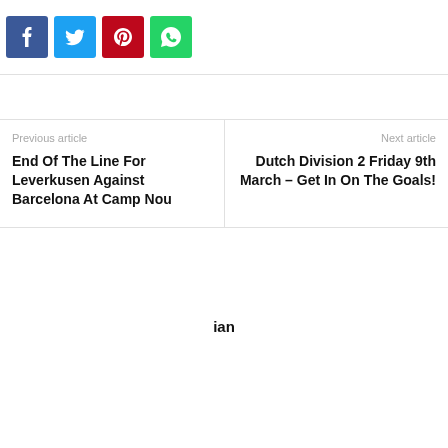[Figure (other): Social share buttons: Facebook (blue), Twitter (light blue), Pinterest (red), WhatsApp (green)]
Previous article
End Of The Line For Leverkusen Against Barcelona At Camp Nou
Next article
Dutch Division 2 Friday 9th March – Get In On The Goals!
ian